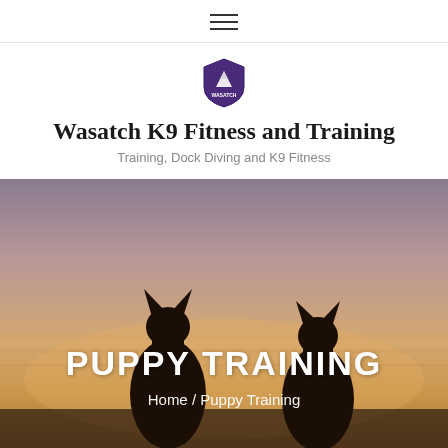≡ (hamburger menu)
[Figure (logo): Wasatch K9 Fitness and Training shield/mountain logo in purple]
Wasatch K9 Fitness and Training
Training, Dock Diving and K9 Fitness
[Figure (photo): Two dog silhouettes (German Shepherd-type dogs) seen from behind against a warm sunset sky in shades of peach, pink, and gold]
PUPPY TRAINING
Home / Puppy Training